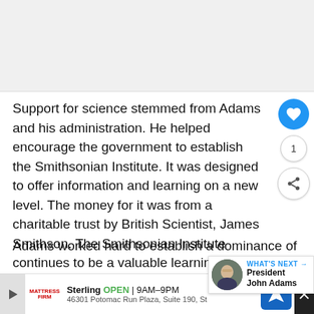[Figure (other): Top image area (partially visible, light gray placeholder)]
Support for science stemmed from Adams and his administration. He helped encourage the government to establish the Smithsonian Institute. It was designed to offer information and learning on a new level. The money for it was from a charitable trust by British Scientist, James Smithson. The Smithsonian Institute continues to be a valuable learning ins
Adams worked hard to establish a dominance of
[Figure (other): WHAT'S NEXT arrow banner with portrait of John Adams]
[Figure (other): Ad banner: Mattress Firm Sterling OPEN 9AM-9PM 46301 Potomac Run Plaza, Suite 190, St]